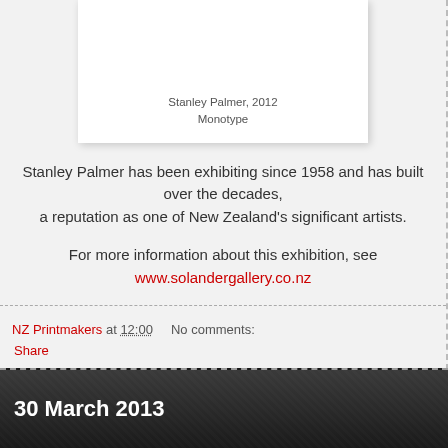[Figure (other): White card/artwork panel with caption 'Stanley Palmer, 2012 Monotype' below a white rectangle]
Stanley Palmer, 2012
Monotype
Stanley Palmer has been exhibiting since 1958 and has built over the decades,
a reputation as one of New Zealand’s significant artists.
For more information about this exhibition, see
www.solandergallery.co.nz
NZ Printmakers at 12:00    No comments:
Share
30 March 2013